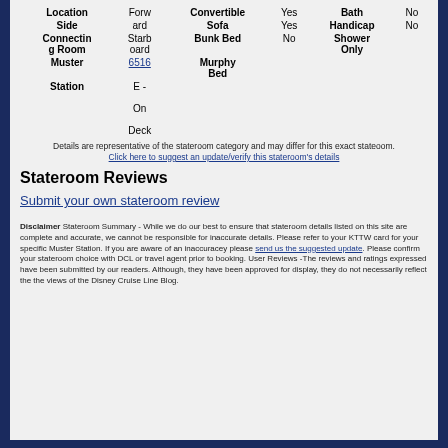| Location | Forw | Convertible | Yes | Bath | No |
| --- | --- | --- | --- | --- | --- |
| Side | ard | Sofa | Yes | Handicap | No |
| Connecting Room | Starboard | Bunk Bed | No | Shower Only |  |
| Muster | 6516 | Murphy Bed |  |  |  |
| Station | E - On Deck |  |  |  |  |
Details are representative of the stateroom category and may differ for this exact stateoom.
Click here to suggest an update/verify this stateroom's details
Stateroom Reviews
Submit your own stateroom review
Disclaimer Stateroom Summary - While we do our best to ensure that stateroom details listed on this site are complete and accurate, we cannot be responsible for inaccurate details. Please refer to your KTTW card for your specific Muster Station. If you are aware of an inaccuracey please send us the suggested update. Please confirm your stateroom choice with DCL or travel agent prior to booking. User Reviews -The reviews and ratings expressed have been submitted by our readers. Although, they have been approved for display, they do not necessarily reflect the the views of the Disney Cruise Line Blog.